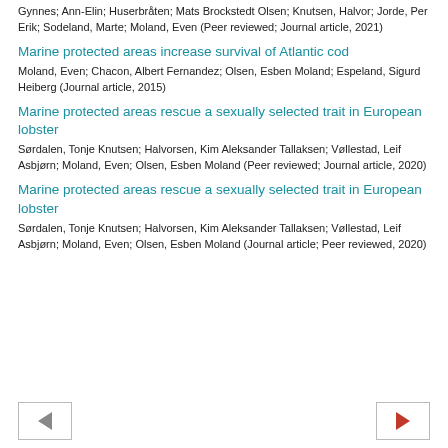Gynnes; Ann-Elin; Huserbråten; Mats Brockstedt Olsen; Knutsen, Halvor; Jorde, Per Erik; Sodeland, Marte; Moland, Even (Peer reviewed; Journal article, 2021)
Marine protected areas increase survival of Atlantic cod
Moland, Even; Chacon, Albert Fernandez; Olsen, Esben Moland; Espeland, Sigurd Heiberg (Journal article, 2015)
Marine protected areas rescue a sexually selected trait in European lobster
Sørdalen, Tonje Knutsen; Halvorsen, Kim Aleksander Tallaksen; Vøllestad, Leif Asbjørn; Moland, Even; Olsen, Esben Moland (Peer reviewed; Journal article, 2020)
Marine protected areas rescue a sexually selected trait in European lobster
Sørdalen, Tonje Knutsen; Halvorsen, Kim Aleksander Tallaksen; Vøllestad, Leif Asbjørn; Moland, Even; Olsen, Esben Moland (Journal article; Peer reviewed, 2020)